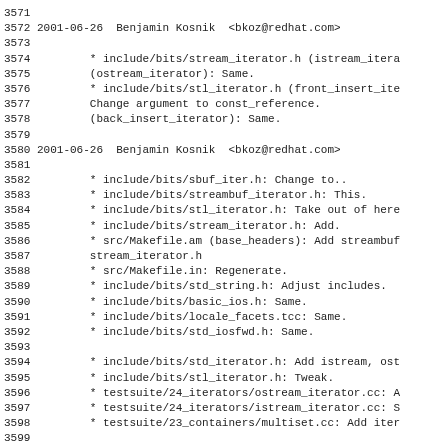3571
3572 2001-06-26  Benjamin Kosnik  <bkoz@redhat.com>
3573
3574		* include/bits/stream_iterator.h (istream_itera
3575		(ostream_iterator): Same.
3576		* include/bits/stl_iterator.h (front_insert_ite
3577		Change argument to const_reference.
3578		(back_insert_iterator): Same.
3579
3580 2001-06-26  Benjamin Kosnik  <bkoz@redhat.com>
3581
3582		* include/bits/sbuf_iter.h: Change to..
3583		* include/bits/streambuf_iterator.h: This.
3584		* include/bits/stl_iterator.h: Take out of here
3585		* include/bits/stream_iterator.h: Add.
3586		* src/Makefile.am (base_headers): Add streambuf
3587		stream_iterator.h
3588		* src/Makefile.in: Regenerate.
3589		* include/bits/std_string.h: Adjust includes.
3590		* include/bits/basic_ios.h: Same.
3591		* include/bits/locale_facets.tcc: Same.
3592		* include/bits/std_iosfwd.h: Same.
3593
3594		* include/bits/std_iterator.h: Add istream, ost
3595		* include/bits/stl_iterator.h: Tweak.
3596		* testsuite/24_iterators/ostream_iterator.cc: A
3597		* testsuite/24_iterators/istream_iterator.cc: S
3598		* testsuite/23_containers/multiset.cc: Add iter
3599
3600 2001-06-26  Phil Edwards  <pme@sources.redhat.com>
3601
3602		* acinclude.m4:  Clean extraneous tabs, rewrap